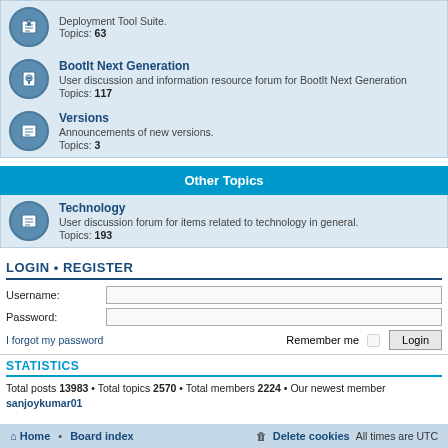[Figure (screenshot): Forum row: Deployment Tool Suite. Topics: 63 (partial, top cut off)]
BootIt Next Generation - User discussion and information resource forum for BootIt Next Generation. Topics: 117
Versions - Announcements of new versions. Topics: 3
Other Topics
Technology - User discussion forum for items related to technology in general. Topics: 193
LOGIN • REGISTER
Username:
Password:
I forgot my password  Remember me  Login
STATISTICS
Total posts 13983 • Total topics 2570 • Total members 2224 • Our newest member sanjoykmar01
Home • Board index    Delete cookies  All times are UTC